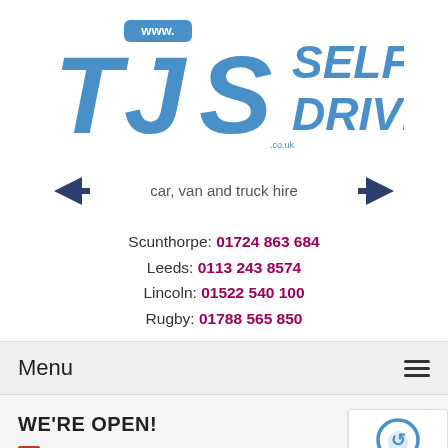[Figure (logo): TJS Self Drive logo — large bold italic blue letters 'TJS' with 'SELF DRIVE' in bold blue to the right, 'www.' above in white on blue banner, '.co.uk' small below S]
[Figure (logo): Tagline graphic: dark blue arrow shapes flanking text 'car, van and truck hire' in grey/dark text]
Scunthorpe: 01724 863 684
Leeds: 0113 243 8574
Lincoln: 01522 540 100
Rugby: 01788 565 850
Menu
WE'RE OPEN!
We're open! A message from TJS Self Drive